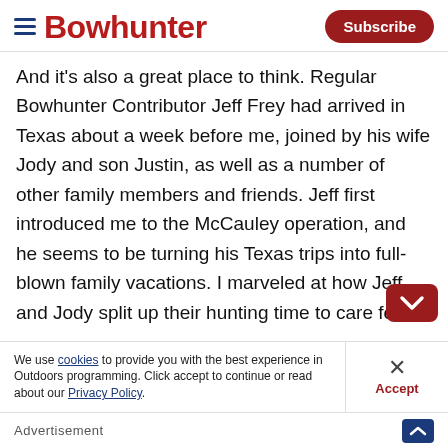Bowhunter | Subscribe
And it's also a great place to think. Regular Bowhunter Contributor Jeff Frey had arrived in Texas about a week before me, joined by his wife Jody and son Justin, as well as a number of other family members and friends. Jeff first introduced me to the McCauley operation, and he seems to be turning his Texas trips into full-blown family vacations. I marveled at how Jeff and Jody split up their hunting time to care for four-year-old Justin, as well as how they catered to friends and family and threw in
We use cookies to provide you with the best experience in Outdoors programming. Click accept to continue or read about our Privacy Policy.
Advertisement